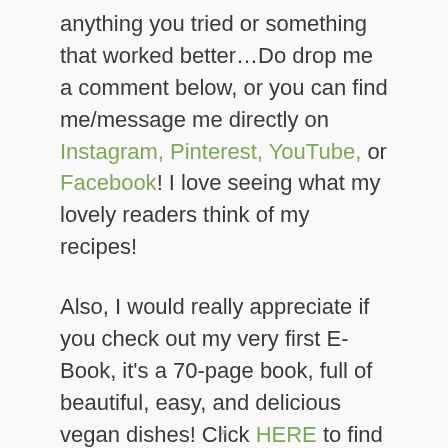anything you tried or something that worked better…Do drop me a comment below, or you can find me/message me directly on Instagram, Pinterest, YouTube, or Facebook! I love seeing what my lovely readers think of my recipes!

Also, I would really appreciate if you check out my very first E-Book, it's a 70-page book, full of beautiful, easy, and delicious vegan dishes! Click HERE to find
×